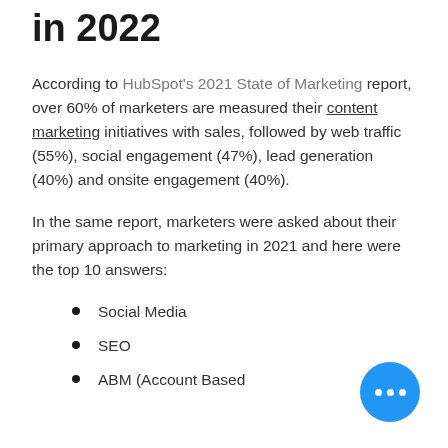in 2022
According to HubSpot's 2021 State of Marketing report, over 60% of marketers are measured their content marketing initiatives with sales, followed by web traffic (55%), social engagement (47%), lead generation (40%) and onsite engagement (40%).
In the same report, marketers were asked about their primary approach to marketing in 2021 and here were the top 10 answers:
Social Media
SEO
ABM (Account Based